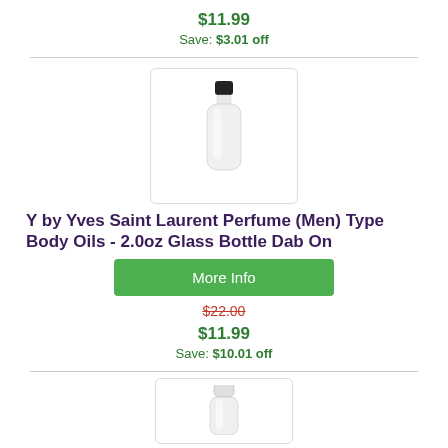$11.99
Save: $3.01 off
[Figure (photo): Clear glass dab-on bottle with black cap]
Y by Yves Saint Laurent Perfume (Men) Type Body Oils - 2.0oz Glass Bottle Dab On
More Info
$22.00 (strikethrough)
$11.99
Save: $10.01 off
[Figure (photo): Partial view of another bottle product at bottom of page]